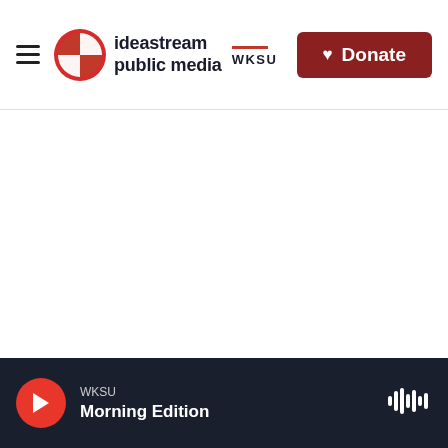ideastream public media | WKSU — Donate
[Figure (logo): Ideastream Public Media logo with WKSU badge and red circular icon]
WKSU Morning Edition — audio player bar with play button and audio wave icon